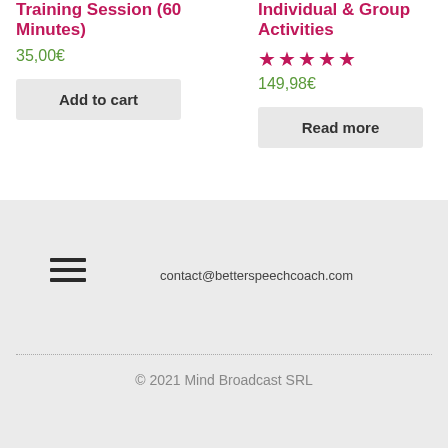Training Session (60 Minutes)
35,00€
Add to cart
Individual & Group Activities
★★★★★
149,98€
Read more
contact@betterspeechcoach.com
© 2021 Mind Broadcast SRL